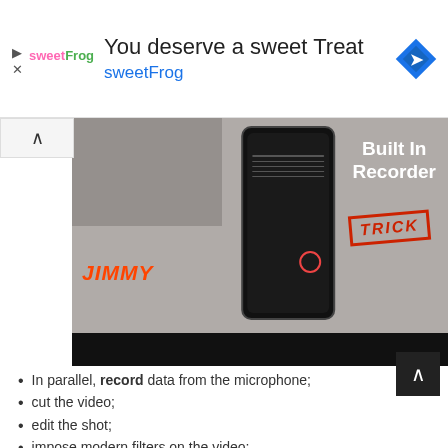[Figure (screenshot): Advertisement banner for sweetFrog: 'You deserve a sweet Treat' with sweetFrog logo, play and close icons, and a blue navigation arrow icon]
[Figure (screenshot): Video thumbnail showing a Samsung phone with Built-In Recorder settings screen, 'Built In Recorder' text in white, 'TRICK' in red stamp style, and 'JIMMY' in orange italic text. A black bar at the bottom.]
In parallel, record data from the microphone;
cut the video;
edit the shot;
impose modern filters on the video;
Add background music.